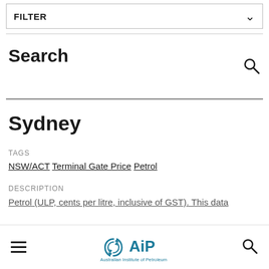FILTER
Search
Sydney
TAGS
NSW/ACT Terminal Gate Price Petrol
DESCRIPTION
Petrol (ULP, cents per litre, inclusive of GST). This data
[Figure (logo): Australian Institute of Petroleum (AiP) logo with stylized arrows icon and text 'Australian Institute of Petroleum']